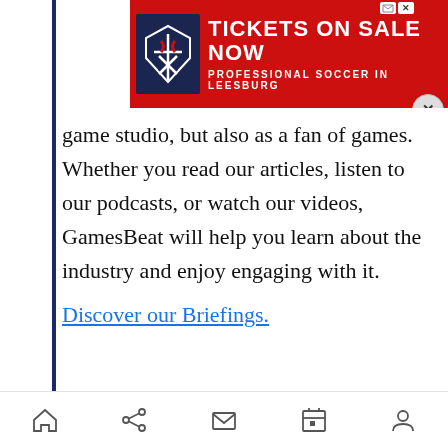[Figure (screenshot): Red advertisement banner overlay: 'TICKETS ON SALE NOW / PROFESSIONAL SOCCER IN LEESBURG' with soccer club shield logo and close button]
game studio, but also as a fan of games. Whether you read our articles, listen to our podcasts, or watch our videos, GamesBeat will help you learn about the industry and enjoy engaging with it. Discover our Briefings.
ADVERTISEMENT
[Figure (screenshot): Capital One Software advertisement featuring 'Capital One Slingshot' on a dark blue background with Capital One logo and swoosh]
Home | Share | Mail | Calendar | Profile — mobile navigation bar